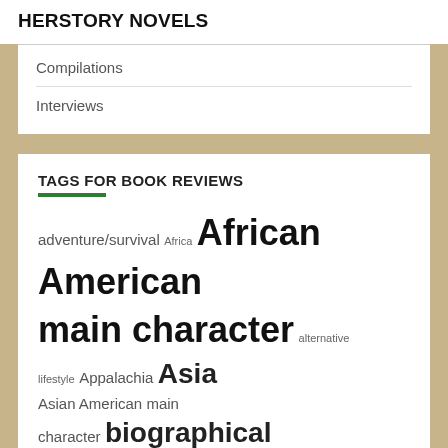HERSTORY NOVELS
Compilations
Interviews
TAGS FOR BOOK REVIEWS
adventure/survival Africa African American main character alternative lifestyle Appalachia Asia Asian American main character biographical novels Caribbean child/teen main character Civil War crime elder main character